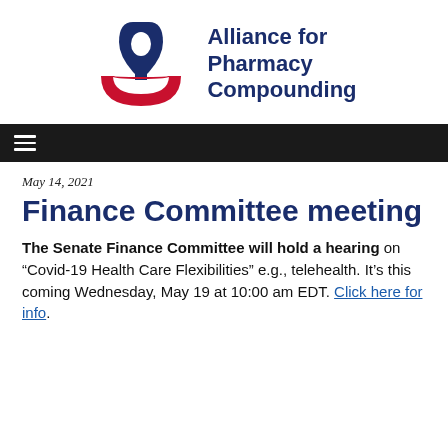[Figure (logo): Alliance for Pharmacy Compounding logo — stylized mortar and pestle icon in navy blue and red, with organization name in bold navy text]
≡ (navigation menu bar)
May 14, 2021
Finance Committee meeting
The Senate Finance Committee will hold a hearing on “Covid-19 Health Care Flexibilities” e.g., telehealth. It’s this coming Wednesday, May 19 at 10:00 am EDT. Click here for info.